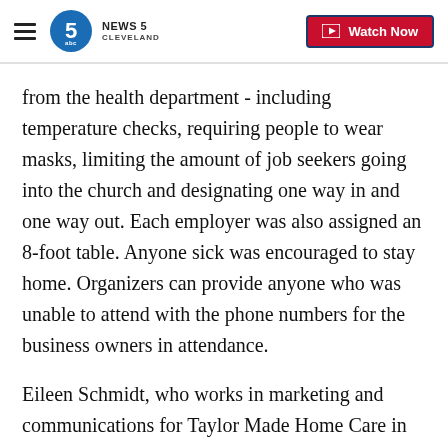NEWS 5 CLEVELAND | Watch Now
from the health department - including temperature checks, requiring people to wear masks, limiting the amount of job seekers going into the church and designating one way in and one way out. Each employer was also assigned an 8-foot table. Anyone sick was encouraged to stay home. Organizers can provide anyone who was unable to attend with the phone numbers for the business owners in attendance.
Eileen Schmidt, who works in marketing and communications for Taylor Made Home Care in Mentor, was at the job fair looking for potential caregivers. She said unlike many other sectors, the home care industry is booming during the pandemic.